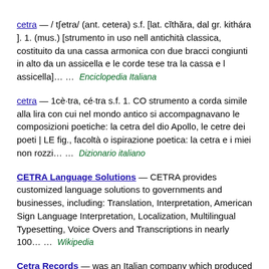cetra — / tʃetra/ (ant. cetera) s.f. [lat. cĭthăra, dal gr. kithára ]. 1. (mus.) [strumento in uso nell antichità classica, costituito da una cassa armonica con due bracci congiunti in alto da un assicella e le corde tese tra la cassa e l assicella]… … Enciclopedia Italiana
cetra — 1cè·tra, cé·tra s.f. 1. CO strumento a corda simile alla lira con cui nel mondo antico si accompagnavano le composizioni poetiche: la cetra del dio Apollo, le cetre dei poeti | LE fig., facoltà o ispirazione poetica: la cetra e i miei non rozzi… … Dizionario italiano
CETRA Language Solutions — CETRA provides customized language solutions to governments and businesses, including: Translation, Interpretation, American Sign Language Interpretation, Localization, Multilingual Typesetting, Voice Overs and Transcriptions in nearly 100… … Wikipedia
Cetra Records — was an Italian company which produced opera recordings from the 1930s onwards. Its roster of artists included Maria Callas, Renata Tebaldi, Lina Pagliughi, Ebe Stignani, Carlo Bergonzi, Collins, Maricio Simonato, Molinini, Ferruccio...